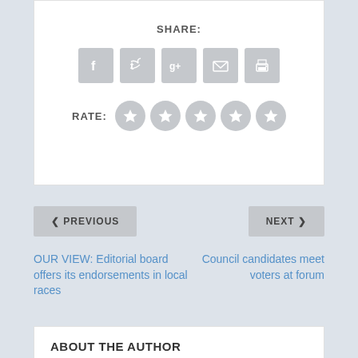SHARE:
[Figure (infographic): Social sharing icons: Facebook, Twitter, Google+, Email, Print — gray square buttons]
RATE:
[Figure (infographic): Five gray circle star rating buttons]
< PREVIOUS
NEXT >
OUR VIEW: Editorial board offers its endorsements in local races
Council candidates meet voters at forum
ABOUT THE AUTHOR